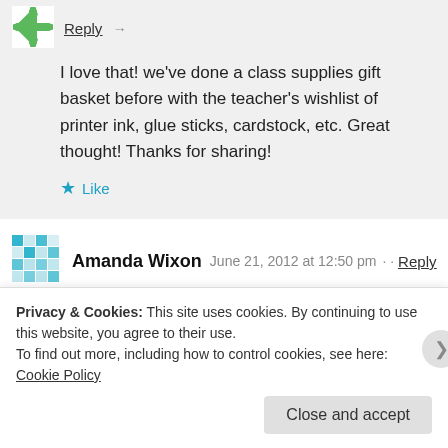[Figure (illustration): Green snowflake/star avatar icon for reply commenter]
Reply →
I love that! we've done a class supplies gift basket before with the teacher's wishlist of printer ink, glue sticks, cardstock, etc. Great thought! Thanks for sharing!
★ Like
[Figure (illustration): Teal/blue mosaic pattern avatar icon for Amanda Wixon]
Amanda Wixon   June 21, 2012 at 12:50 pm · · Reply
→
I have been looking for those baskets EVERYWHERE! Where
Privacy & Cookies: This site uses cookies. By continuing to use this website, you agree to their use.
To find out more, including how to control cookies, see here: Cookie Policy
Close and accept